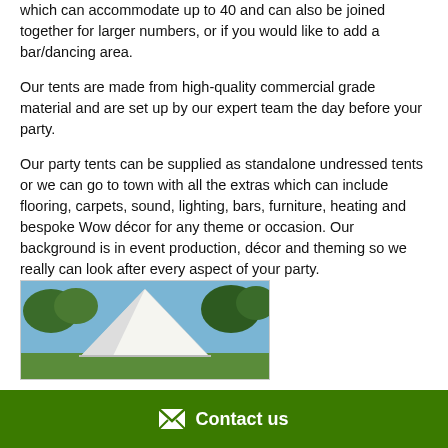which can accommodate up to 40 and can also be joined together for larger numbers, or if you would like to add a bar/dancing area.
Our tents are made from high-quality commercial grade material and are set up by our expert team the day before your party.
Our party tents can be supplied as standalone undressed tents or we can go to town with all the extras which can include flooring, carpets, sound, lighting, bars, furniture, heating and bespoke Wow décor for any theme or occasion. Our background is in event production, décor and theming so we really can look after every aspect of your party.
[Figure (photo): Outdoor photo showing a white party tent among trees]
✉ Contact us